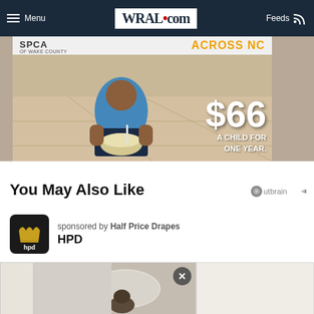Menu | WRAL.com | Feeds
[Figure (photo): SPCA of Wake County advertisement showing a child sitting on the ground holding a bowl, with text '$66 A CHILD FOR ONE YEAR.' and 'ACROSS NC']
You May Also Like
sponsored by Half Price Drapes
HPD
[Figure (photo): Partial content card showing an image of what appears to be an animal near a surfboard, with a close (X) button]